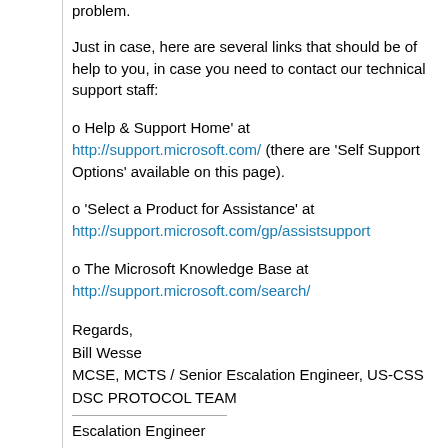problem.
Just in case, here are several links that should be of help to you, in case you need to contact our technical support staff:
o Help & Support Home' at http://support.microsoft.com/ (there are 'Self Support Options' available on this page).
o 'Select a Product for Assistance' at http://support.microsoft.com/gp/assistsupport
o The Microsoft Knowledge Base at http://support.microsoft.com/search/
Regards,
Bill Wesse
MCSE, MCTS / Senior Escalation Engineer, US-CSS DSC PROTOCOL TEAM
Escalation Engineer
Proposed as answer by